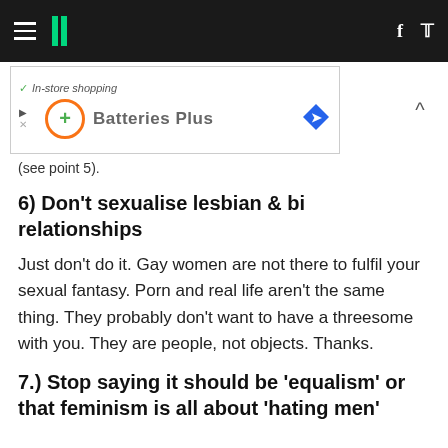HuffPost navigation with hamburger menu, logo, Facebook and Twitter icons
[Figure (screenshot): Advertisement banner for Batteries Plus with in-store shopping checkmark, orange circle plus icon, blue diamond arrow icon]
(see point 5).
6) Don't sexualise lesbian & bi relationships
Just don't do it. Gay women are not there to fulfil your sexual fantasy. Porn and real life aren't the same thing. They probably don't want to have a threesome with you. They are people, not objects. Thanks.
7.) Stop saying it should be 'equalism' or that feminism is all about 'hating men'